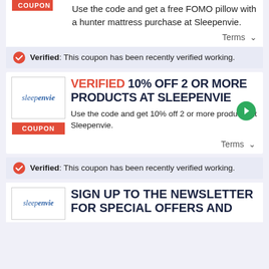Use the code and get a free FOMO pillow with a hunter mattress purchase at Sleepenvie.
Terms
Verified: This coupon has been recently verified working.
Verified 10% Off 2 Or More Products at Sleepenvie
Use the code and get 10% off 2 or more products at Sleepenvie.
Terms
Verified: This coupon has been recently verified working.
Sign Up To The Newsletter For Special Offers and